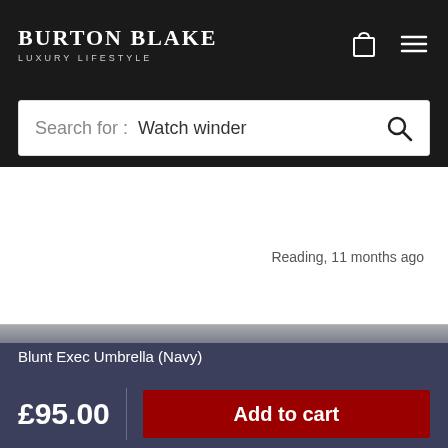BURTON BLAKE LUXURY LIFESTYLE
Search for : Watch winder
Reading, 11 months ago
Blunt Exec Umbrella (Navy)
£95.00
Add to cart